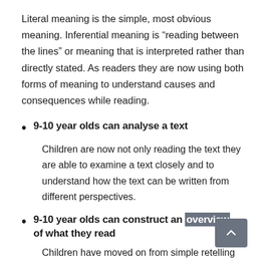Literal meaning is the simple, most obvious meaning. Inferential meaning is “reading between the lines” or meaning that is interpreted rather than directly stated. As readers they are now using both forms of meaning to understand causes and consequences while reading.
9-10 year olds can analyse a text
Children are now not only reading the text they are able to examine a text closely and to understand how the text can be written from different perspectives.
9-10 year olds can construct an overview of what they read
Children have moved on from simple retelling